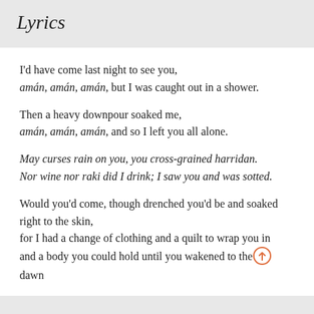Lyrics
I'd have come last night to see you,
amán, amán, amán, but I was caught out in a shower.
Then a heavy downpour soaked me,
amán, amán, amán, and so I left you all alone.
May curses rain on you, you cross-grained harridan.
Nor wine nor raki did I drink; I saw you and was sotted.
Would you'd come, though drenched you'd be and soaked
right to the skin,
for I had a change of clothing and a quilt to wrap you in
and a body you could hold until you wakened to the dawn